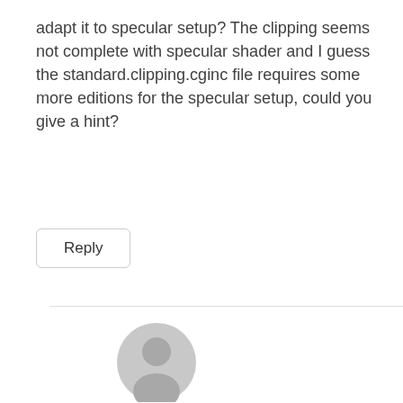adapt it to specular setup? The clipping seems not complete with specular shader and I guess the standard.clipping.cginc file requires some more editions for the specular setup, could you give a hint?
Reply
[Figure (illustration): Generic user avatar icon — circular grey silhouette of a person on light grey background]
firtoz
12/02/2016 at 10:10
Hi Tomasz, I have updated the GitHub project to show how I have added specular setup support :) Check the latest few commits!